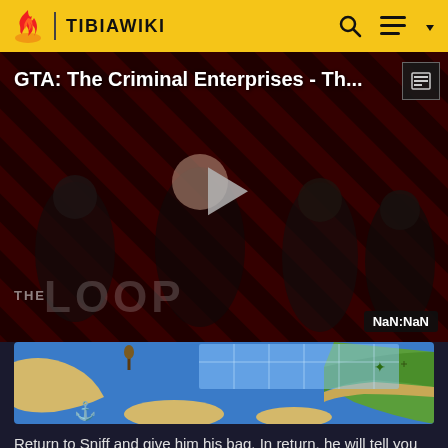TIBIAWIKI
[Figure (screenshot): Video thumbnail for 'GTA: The Criminal Enterprises - Th...' with play button overlay, diagonal red/dark stripe background, group of people, THE LOOP branding, NaN:NaN time badge]
[Figure (map): Top-down game map showing ocean, islands, and land areas with blue grid overlay in a Tibia-style tileset]
Return to Sniff and give him his bag. In return, he will tell you where to find his sister Ra'Clotte.